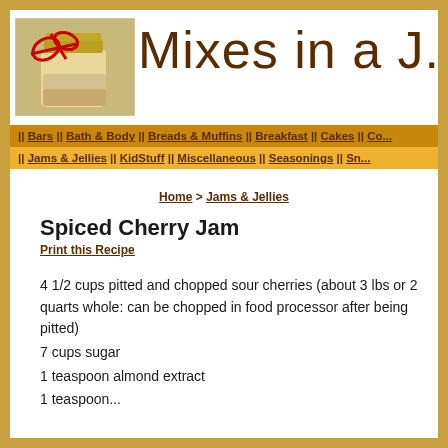[Figure (photo): Header banner showing a mason jar with a red ribbon bow and the site title 'Mixes in a J...' in brown cursive script on white background]
|| Bars || Bath & Body || Breads & Muffins || Breakfast || Cakes || Co...
|| Jams & Jellies || KidStuff || Miscellaneous || Seasonings || Sn...
Home > Jams & Jellies
Spiced Cherry Jam
Print this Recipe
4 1/2 cups pitted and chopped sour cherries (about 3 lbs or 2 quarts whole: can be chopped in food processor after being pitted)
7 cups sugar
1 teaspoon almond extract
1 teaspoon...